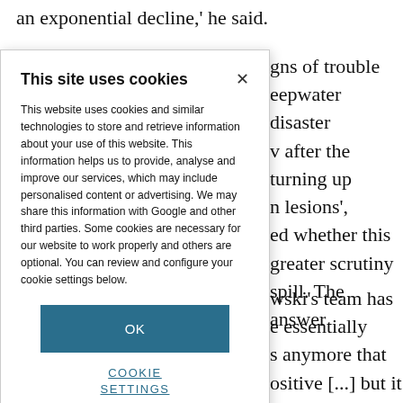an exponential decline,' he said.
gns of trouble eepwater disaster v after the turning up n lesions', ed whether this greater scrutiny spill. The answer
This site uses cookies
This website uses cookies and similar technologies to store and retrieve information about your use of this website. This information helps us to provide, analyse and improve our services, which may include personalised content or advertising. We may share this information with Google and other third parties. Some cookies are necessary for our website to work properly and others are optional. You can review and configure your cookie settings below.
OK
COOKIE SETTINGS
wski's team has e essentially s anymore that ositive [...] but it